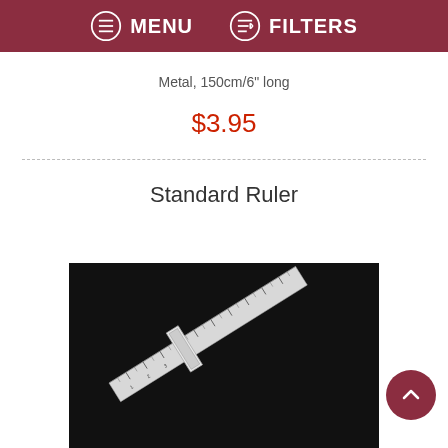MENU  FILTERS
Metal, 150cm/6" long
$3.95
Standard Ruler
[Figure (photo): A metal standard ruler photographed on a black background, positioned diagonally.]